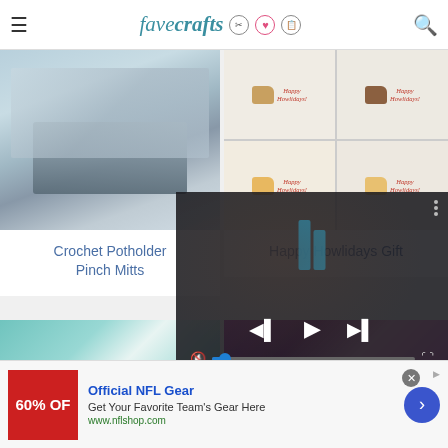favecrafts
[Figure (photo): Crochet potholder pinch mitts stacked on a surface near a blue mug]
Crochet Potholder Pinch Mitts
[Figure (photo): Happy Howlidays gift cards featuring dogs in Santa hats arranged in a 2x2 grid]
Happy Howlidays Gift
[Figure (photo): Teal and white knitted fabric texture]
[Figure (photo): Purple and teal mitten or knitted item]
[Figure (screenshot): Video player overlay with media controls showing play, skip, mute, and fullscreen buttons with a progress bar]
[Figure (photo): Advertisement banner for Official NFL Gear showing 60% off promotion with NFL shop URL and a call-to-action button]